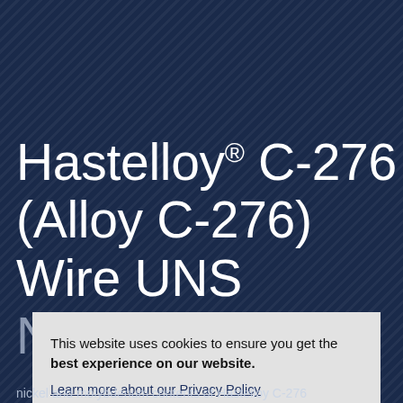Hastelloy® C-276 (Alloy C-276) Wire UNS N06985
Hastelloy® C-276 is a versatile nickel-molybdenum-chromium with added tungsten alloy fit for applications requiring the superior corrosion resistance found in extreme environments. The high nickel and molybdenum contents of Hastelloy C-276
[Figure (screenshot): Cookie consent modal dialog overlaying the page. Contains text: 'This website uses cookies to ensure you get the best experience on our website.' with a 'Learn more about our Privacy Policy' link and an 'I Accept' button.]